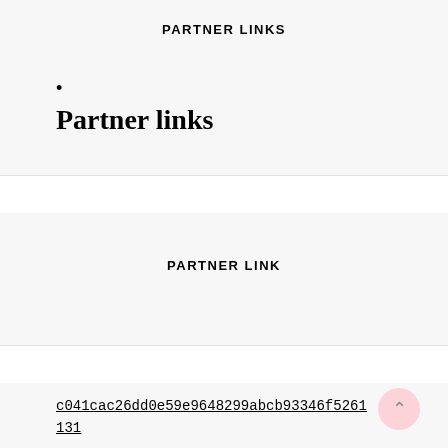PARTNER LINKS
•
Partner links
PARTNER LINK
c041cac26dd0e59e9648299abcb93346f5261131